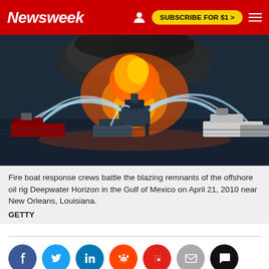Newsweek | SUBSCRIBE FOR $1 >
[Figure (photo): Fire boat response crews battle the blazing remnants of the offshore oil rig Deepwater Horizon in the Gulf of Mexico, with multiple vessels spraying water at a large fire and explosion on the platform.]
Fire boat response crews battle the blazing remnants of the offshore oil rig Deepwater Horizon in the Gulf of Mexico on April 21, 2010 near New Orleans, Louisiana.
GETTY
[Figure (infographic): Social sharing icons row: Facebook, Twitter, LinkedIn, Reddit, Flipboard, Email, Comments]